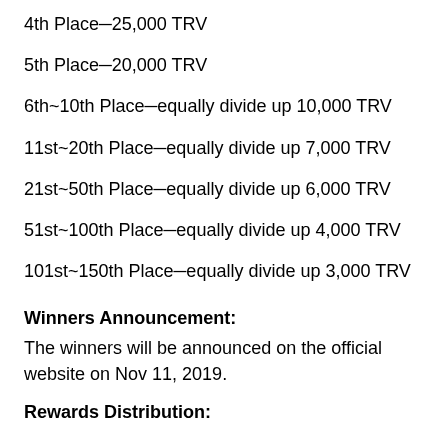4th Place─25,000 TRV
5th Place─20,000 TRV
6th~10th Place─equally divide up 10,000 TRV
11st~20th Place─equally divide up 7,000 TRV
21st~50th Place─equally divide up 6,000 TRV
51st~100th Place─equally divide up 4,000 TRV
101st~150th Place─equally divide up 3,000 TRV
Winners Announcement:
The winners will be announced on the official website on Nov 11, 2019.
Rewards Distribution: